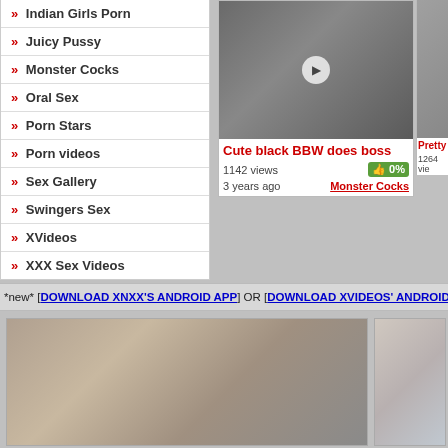» Indian Girls Porn
» Juicy Pussy
» Monster Cocks
» Oral Sex
» Porn Stars
» Porn videos
» Sex Gallery
» Swingers Sex
» XVideos
» XXX Sex Videos
[Figure (photo): Video thumbnail showing two people]
Cute black BBW does boss
1142 views  0%  3 years ago  Monster Cocks
[Figure (photo): Partial right thumbnail]
*new* [DOWNLOAD XNXX'S ANDROID APP] OR [DOWNLOAD XVIDEOS' ANDROID APP
[Figure (photo): Bottom left thumbnail]
[Figure (photo): Bottom right thumbnail partial]